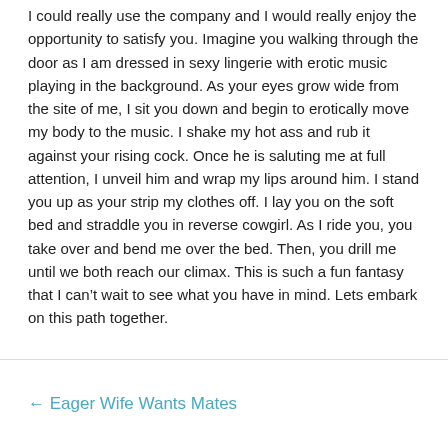I could really use the company and I would really enjoy the opportunity to satisfy you.  Imagine you walking through the door as I am dressed in sexy lingerie with erotic music playing in the background.  As your eyes grow wide from the site of me, I sit you down and begin to erotically move my body to the music.  I shake my hot ass and rub it against your rising cock.  Once he is saluting me at full attention, I unveil him and wrap my lips around him.  I stand you up as your strip my clothes off.  I lay you on the soft bed and straddle you in reverse cowgirl.  As I ride you, you take over and bend me over the bed.  Then, you drill me until we both reach our climax.  This is such a fun fantasy that I can’t wait to see what you have in mind.  Lets embark on this path together.
← Eager Wife Wants Mates